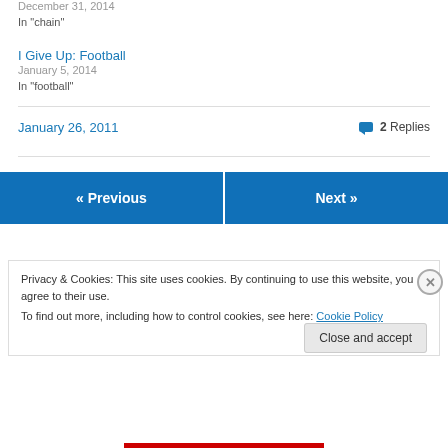December 31, 2014
In "chain"
I Give Up: Football
January 5, 2014
In "football"
January 26, 2011
2 Replies
« Previous
Next »
Privacy & Cookies: This site uses cookies. By continuing to use this website, you agree to their use.
To find out more, including how to control cookies, see here: Cookie Policy
Close and accept